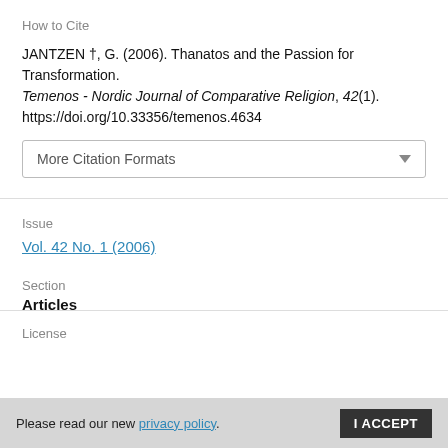How to Cite
JANTZEN †, G. (2006). Thanatos and the Passion for Transformation. Temenos - Nordic Journal of Comparative Religion, 42(1). https://doi.org/10.33356/temenos.4634
More Citation Formats
Issue
Vol. 42 No. 1 (2006)
Section
Articles
License
Please read our new privacy policy.